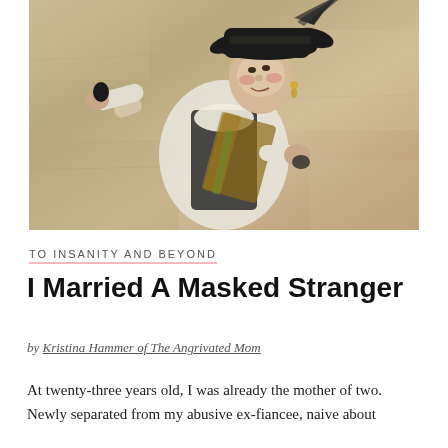[Figure (photo): A person in theatrical/historical costume wearing a tricorn hat with feathers, a white ruffled shirt, black vest with lace details, and a decorative sash. They are holding a small dark object in one outstretched hand and another object in the other hand, posed against a stone-colored background.]
TO INSANITY AND BEYOND
I Married A Masked Stranger
by Kristina Hammer of The Angrivated Mom
At twenty-three years old, I was already the mother of two. Newly separated from my abusive ex-fiancee, naive about